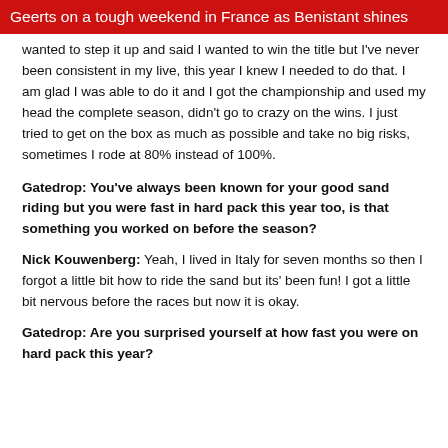Geerts on a tough weekend in France as Benistant shines
wanted to step it up and said I wanted to win the title but I've never been consistent in my live, this year I knew I needed to do that. I am glad I was able to do it and I got the championship and used my head the complete season, didn't go to crazy on the wins. I just tried to get on the box as much as possible and take no big risks, sometimes I rode at 80% instead of 100%.
Gatedrop: You've always been known for your good sand riding but you were fast in hard pack this year too, is that something you worked on before the season?
Nick Kouwenberg: Yeah, I lived in Italy for seven months so then I forgot a little bit how to ride the sand but its' been fun! I got a little bit nervous before the races but now it is okay.
Gatedrop: Are you surprised yourself at how fast you were on hard pack this year?